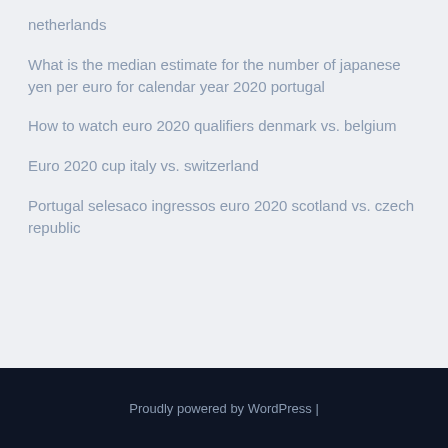netherlands
What is the median estimate for the number of japanese yen per euro for calendar year 2020 portugal
How to watch euro 2020 qualifiers denmark vs. belgium
Euro 2020 cup italy vs. switzerland
Portugal selesaco ingressos euro 2020 scotland vs. czech republic
Proudly powered by WordPress |